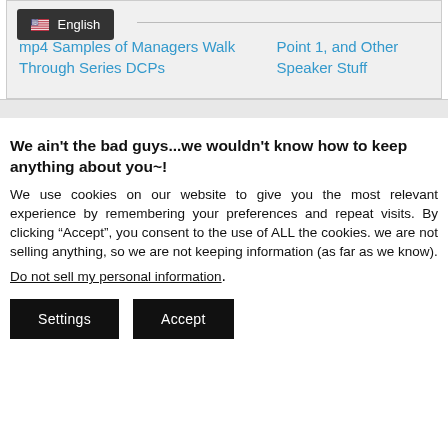English
mp4 Samples of Managers Walk Through Series DCPs
Point 1, and Other Speaker Stuff
We ain't the bad guys...we wouldn't know how to keep anything about you~!
We use cookies on our website to give you the most relevant experience by remembering your preferences and repeat visits. By clicking “Accept”, you consent to the use of ALL the cookies. we are not selling anything, so we are not keeping information (as far as we know).
Do not sell my personal information.
Settings
Accept